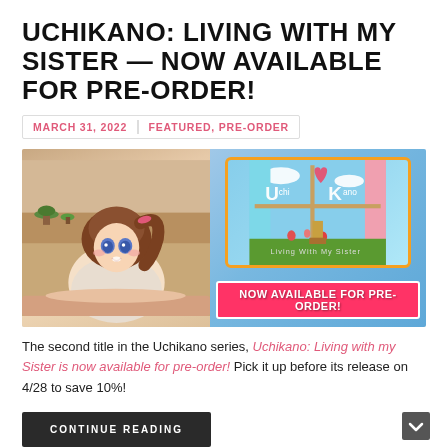UCHIKANO: LIVING WITH MY SISTER — NOW AVAILABLE FOR PRE-ORDER!
MARCH 31, 2022 | FEATURED, PRE-ORDER
[Figure (illustration): Anime illustration on left showing a brown-haired girl with blue eyes in a bedroom setting. On the right is the UchiKano: Living With My Sister game logo in a decorative orange-bordered box with a 'NOW AVAILABLE FOR PRE-ORDER!' banner below.]
The second title in the Uchikano series, Uchikano: Living with my Sister is now available for pre-order! Pick it up before its release on 4/28 to save 10%!
CONTINUE READING